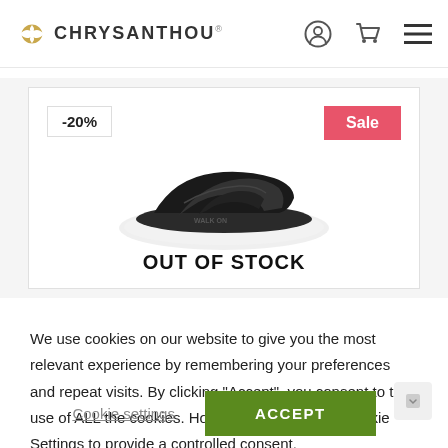CHRYSANTHOU (logo + nav icons)
[Figure (photo): Black slide sandal/slipper shown on a white oval surface. Tagged with -20% discount badge and Sale badge. Out of Stock overlay text shown.]
We use cookies on our website to give you the most relevant experience by remembering your preferences and repeat visits. By clicking “Accept”, you consent to the use of ALL the cookies. However you may visit Cookie Settings to provide a controlled consent.
Cookie settings   ACCEPT